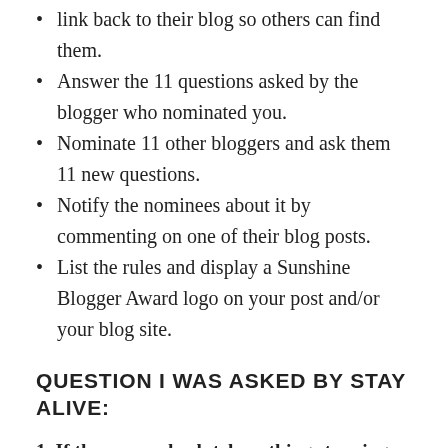link back to their blog so others can find them.
Answer the 11 questions asked by the blogger who nominated you.
Nominate 11 other bloggers and ask them 11 new questions.
Notify the nominees about it by commenting on one of their blog posts.
List the rules and display a Sunshine Blogger Award logo on your post and/or your blog site.
QUESTION I WAS ASKED BY STAY ALIVE:
1. If there was absolutely nothing stopping you, what would you do to make this world a better place? I would ensure that people have access to clean water and as well as food security. Most of the world lacks access to these basic needs as people continue to die from starvation and preventable infections caused by